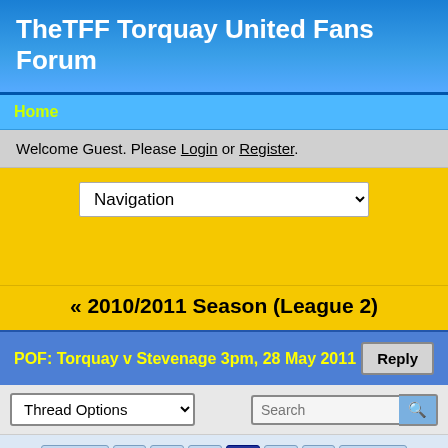TheTFF Torquay United Fans Forum
Home
Welcome Guest. Please Login or Register.
Navigation
« 2010/2011 Season (League 2)
POF: Torquay v Stevenage 3pm, 28 May 2011
Reply
Thread Options
Search
« Prev 1 2 3 4 .. 9 Next »
harboursidegull
TFF member
May 27, 2011 at 6:16pm
Quote